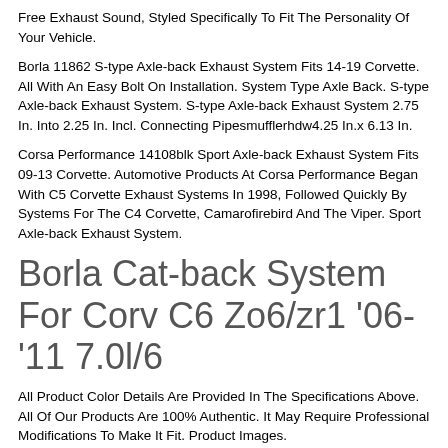Free Exhaust Sound, Styled Specifically To Fit The Personality Of Your Vehicle.
Borla 11862 S-type Axle-back Exhaust System Fits 14-19 Corvette. All With An Easy Bolt On Installation. System Type Axle Back. S-type Axle-back Exhaust System. S-type Axle-back Exhaust System 2.75 In. Into 2.25 In. Incl. Connecting Pipesmufflerhdw4.25 In.x 6.13 In.
Corsa Performance 14108blk Sport Axle-back Exhaust System Fits 09-13 Corvette. Automotive Products At Corsa Performance Began With C5 Corvette Exhaust Systems In 1998, Followed Quickly By Systems For The C4 Corvette, Camarofirebird And The Viper. Sport Axle-back Exhaust System.
Borla Cat-back System For Corv C6 Zo6/zr1 '06-'11 7.0l/6
All Product Color Details Are Provided In The Specifications Above. All Of Our Products Are 100% Authentic. It May Require Professional Modifications To Make It Fit. Product Images.
Borla 11863 Atak Axle-back Exhaust System For 2014-2019